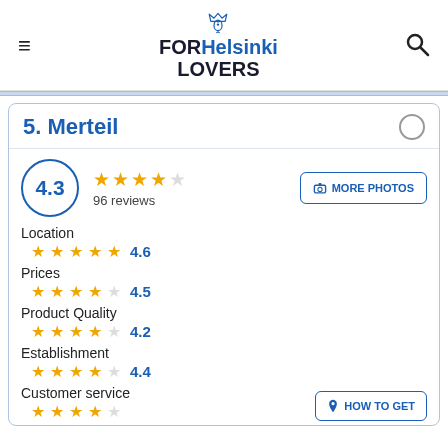FOR Helsinki LOVERS
5. Merteil
4.3 — 96 reviews
Location 4.6
Prices 4.5
Product Quality 4.2
Establishment 4.4
Customer service